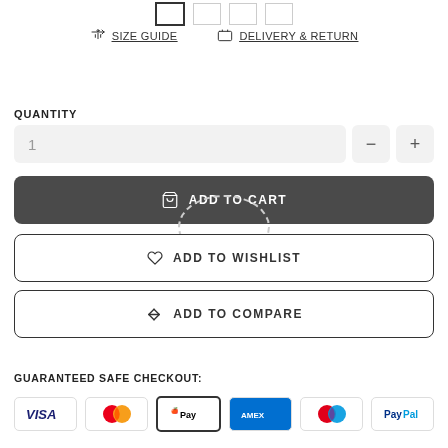[Figure (screenshot): Color swatch selectors — four small boxes at top of page, leftmost with dark border (selected), others with light borders]
SIZE GUIDE   DELIVERY & RETURN
QUANTITY
1
ADD TO CART
ADD TO WISHLIST
ADD TO COMPARE
GUARANTEED SAFE CHECKOUT:
[Figure (other): Payment icons row: VISA, Mastercard, Apple Pay, American Express, Maestro, PayPal]